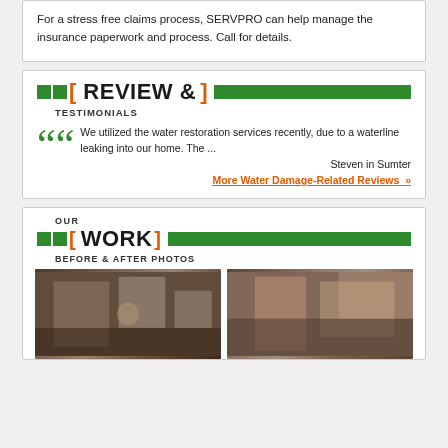For a stress free claims process, SERVPRO can help manage the insurance paperwork and process. Call for details.
REVIEW & TESTIMONIALS
We utilized the water restoration services recently, due to a waterline leaking into our home. The ...
Steven in Sumter
More Water Damage-Related Reviews »
OUR WORK BEFORE & AFTER PHOTOS
[Figure (photo): Before photo of a living room with water damage]
[Figure (photo): After photo of the same living room restored]